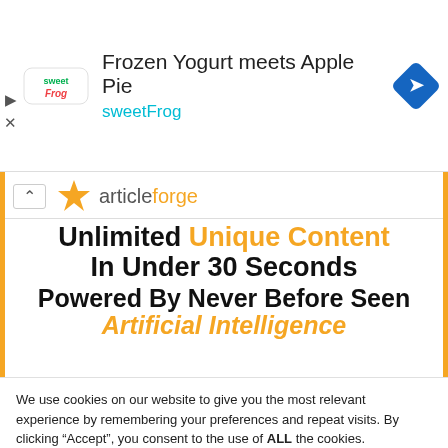[Figure (screenshot): SweetFrog advertisement banner with logo, title 'Frozen Yogurt meets Apple Pie', subtitle 'sweetFrog', and a blue navigation arrow icon]
[Figure (screenshot): Article Forge advertisement showing orange and black logo, with text 'Unlimited Unique Content In Under 30 Seconds Powered By Never Before Seen Artificial Intelligence']
We use cookies on our website to give you the most relevant experience by remembering your preferences and repeat visits. By clicking “Accept”, you consent to the use of ALL the cookies.
Do not sell my personal information.
Cookie Settings
Accept